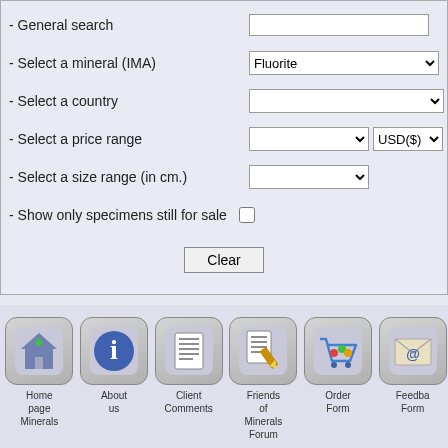- General search
- Select a mineral (IMA)
- Select a country
- Select a price range
- Select a size range (in cm.)
- Show only specimens still for sale
[Figure (screenshot): Navigation footer bar with icon buttons: Home page Minerals, About us, Client Comments, Friends of Minerals Forum, Order Form, Feedback Form]
Home page Minerals
About us
Client Comments
Friends of Minerals Forum
Order Form
Feedba Form